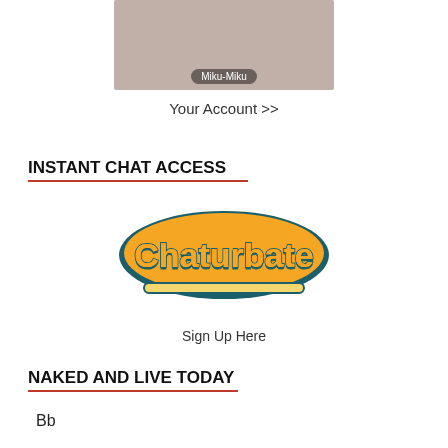[Figure (photo): Photo of a person (Miku-Miku) in a black top, with a name label overlay]
Your Account >>
INSTANT CHAT ACCESS
[Figure (logo): Chaturbate logo in orange and teal script lettering]
Sign Up Here
NAKED AND LIVE TODAY
Bb